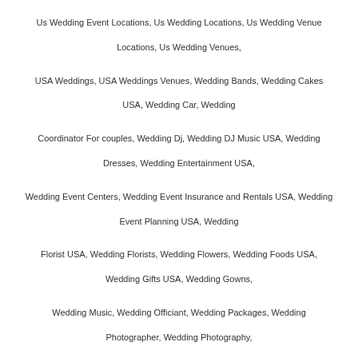Us Wedding Event Locations, Us Wedding Locations, Us Wedding Venue Locations, Us Wedding Venues, USA Weddings, USA Weddings Venues, Wedding Bands, Wedding Cakes USA, Wedding Car, Wedding Coordinator For couples, Wedding Dj, Wedding DJ Music USA, Wedding Dresses, Wedding Entertainment USA, Wedding Event Centers, Wedding Event Insurance and Rentals USA, Wedding Event Planning USA, Wedding Florist USA, Wedding Florists, Wedding Flowers, Wedding Foods USA, Wedding Gifts USA, Wedding Gowns, Wedding Music, Wedding Officiant, Wedding Packages, Wedding Photographer, Wedding Photography, Wedding Photography USA, Wedding Planning
Recent Articles
5 Spectacular Destination Wedding Venues in South America